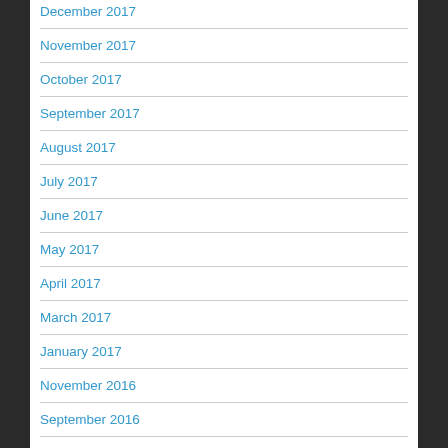December 2017
November 2017
October 2017
September 2017
August 2017
July 2017
June 2017
May 2017
April 2017
March 2017
January 2017
November 2016
September 2016
August 2016
July 2016
June 2016